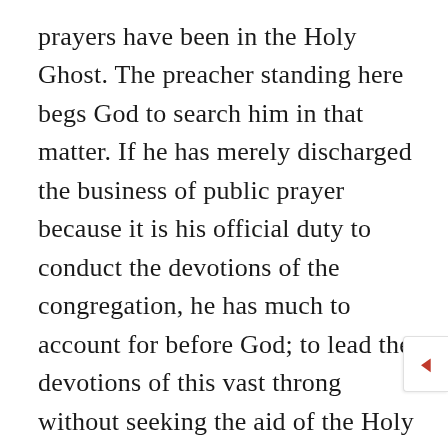prayers have been in the Holy Ghost. The preacher standing here begs God to search him in that matter. If he has merely discharged the business of public prayer because it is his official duty to conduct the devotions of the congregation, he has much to account for before God; to lead the devotions of this vast throng without seeking the aid of the Holy Ghost is no light sin. And what shall be said of the prayers at prayer meetings? Are not many of them mere words? It were better if our friends would not speak at all rather than